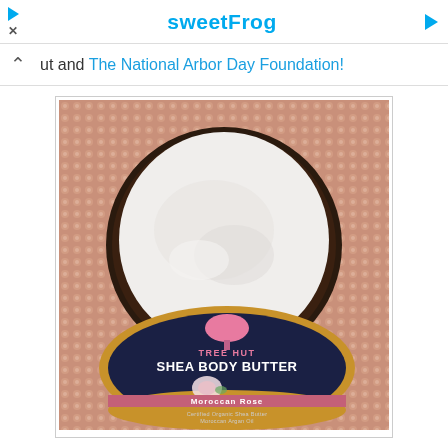[Figure (screenshot): Ad banner showing sweetFrog logo in cyan/blue text with a play button triangle on the left and a right-pointing arrow on the right, on a white background]
ut and The National Arbor Day Foundation!
[Figure (photo): Tree Hut Shea Body Butter in Moroccan Rose scent — an open dark jar with white creamy product visible inside the lid, and the front label showing a gold-rimmed navy blue circular container with a pink tree logo, white bold text 'TREE HUT SHEA BODY BUTTER', a pink rose illustration, and text 'Moroccan Rose, Certified Organic Shea Butter, Moroccan Argan Oil', photographed on a rose-gold sequin background]